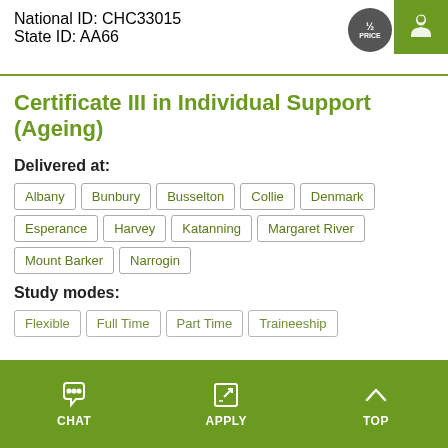National ID: CHC33015
State ID: AA66
Certificate III in Individual Support (Ageing)
Delivered at:
Albany, Bunbury, Busselton, Collie, Denmark, Esperance, Harvey, Katanning, Margaret River, Mount Barker, Narrogin
Study modes:
Flexible, Full Time, Part Time, Traineeship
CHAT   APPLY   TOP